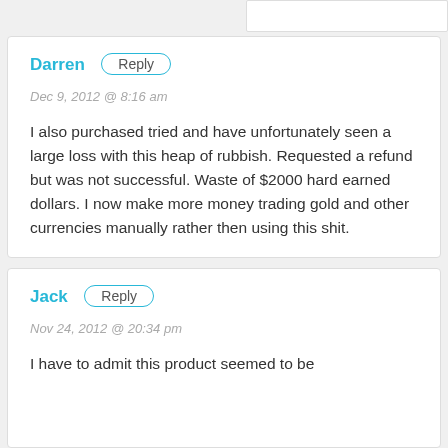Darren
Dec 9, 2012 @ 8:16 am
I also purchased tried and have unfortunately seen a large loss with this heap of rubbish. Requested a refund but was not successful. Waste of $2000 hard earned dollars. I now make more money trading gold and other currencies manually rather then using this shit.
Jack
Nov 24, 2012 @ 20:34 pm
I have to admit this product seemed to be